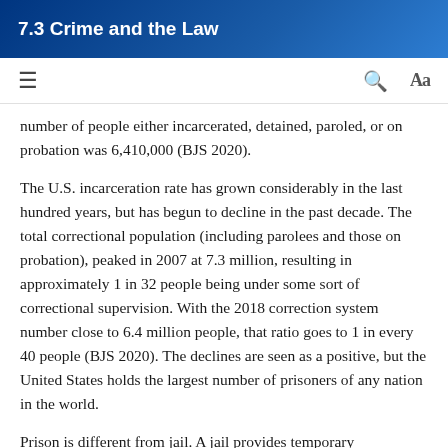7.3 Crime and the Law
number of people either incarcerated, detained, paroled, or on probation was 6,410,000 (BJS 2020).
The U.S. incarceration rate has grown considerably in the last hundred years, but has begun to decline in the past decade. The total correctional population (including parolees and those on probation), peaked in 2007 at 7.3 million, resulting in approximately 1 in 32 people being under some sort of correctional supervision. With the 2018 correction system number close to 6.4 million people, that ratio goes to 1 in every 40 people (BJS 2020). The declines are seen as a positive, but the United States holds the largest number of prisoners of any nation in the world.
Prison is different from jail. A jail provides temporary